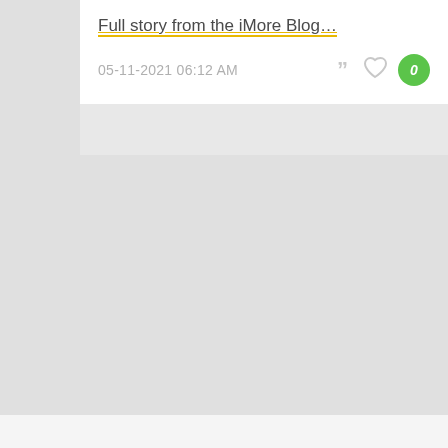Full story from the iMore Blog…
05-11-2021 06:12 AM